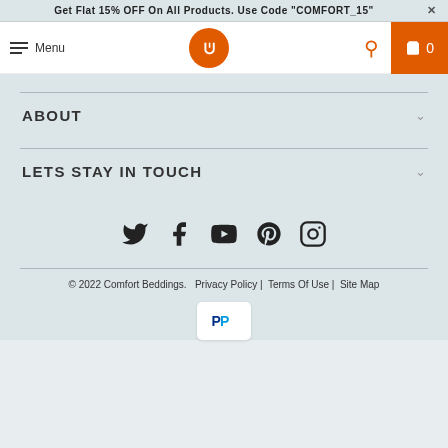Get Flat 15% OFF On All Products. Use Code "COMFORT_15"  ×
[Figure (logo): Comfort Beddings circular logo in orange with CB initials]
ABOUT
LETS STAY IN TOUCH
[Figure (infographic): Social media icons row: Twitter, Facebook, YouTube, Pinterest, Instagram]
© 2022 Comfort Beddings.   Privacy Policy |  Terms Of Use |  Site Map
[Figure (logo): PayPal payment logo in white rounded box]